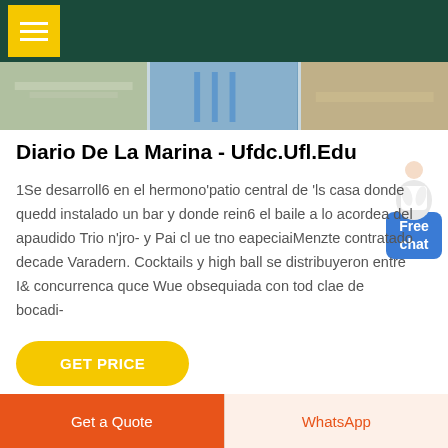≡
[Figure (photo): Three thumbnail images in a horizontal strip showing a marketplace/outdoor scene, a blue-toned street scene, and a warm-toned outdoor photo]
Diario De La Marina - Ufdc.Ufl.Edu
1Se desarroll6 en el hermono'patio central de 'ls casa donde quedd instalado un bar y donde rein6 el baile a lo acordea del apaudido Trio n'jro- y Pai cl ue tno eapeciaiMenzte contratado decade Varadern. Cocktails y high ball se distribuyeron entre I& concurrenca quce Wue obsequiada con tod clae de bocadi-
[Figure (illustration): Person in white jacket gesturing, chat assistant avatar]
Free chat
GET PRICE
Get a Quote   WhatsApp